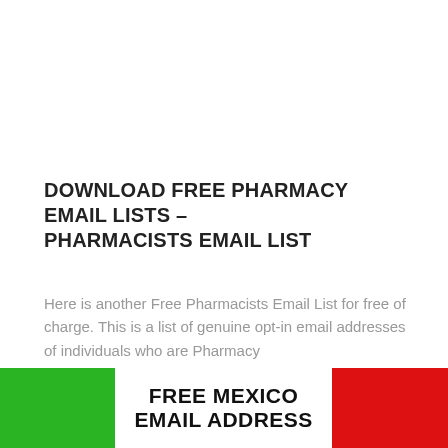DOWNLOAD FREE PHARMACY EMAIL LISTS – PHARMACISTS EMAIL LIST
Here is another Free Pharmacists Email List for free of charge. This is a list of genuine opt-in email addresses of individuals who are Pharmacy
[Figure (illustration): Mexican flag graphic (green left stripe, white center, red right stripe) with bold text 'FREE MEXICO EMAIL ADDRESS' in the center white area]